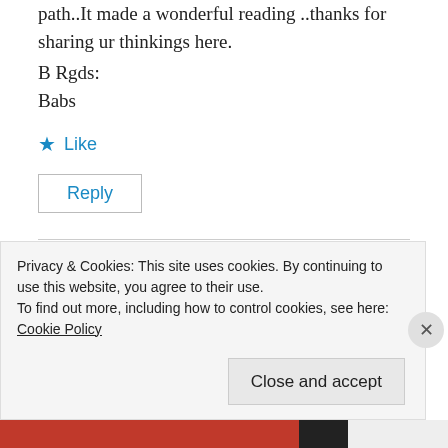path..It made a wonderful reading ..thanks for sharing ur thinkings here.
B Rgds:
Babs
Like
Reply
Shakti Ghosal
Privacy & Cookies: This site uses cookies. By continuing to use this website, you agree to their use.
To find out more, including how to control cookies, see here:
Cookie Policy
Close and accept